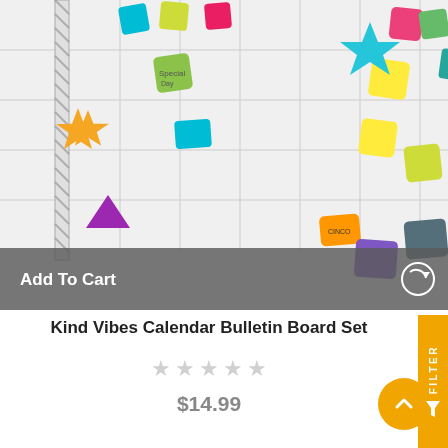[Figure (photo): Kind Vibes Calendar Bulletin Board Set product image showing colorful stickers, stars, and calendar elements on a grid background]
Add To Cart
Kind Vibes Calendar Bulletin Board Set
★★★★★ (0 stars)
$14.99